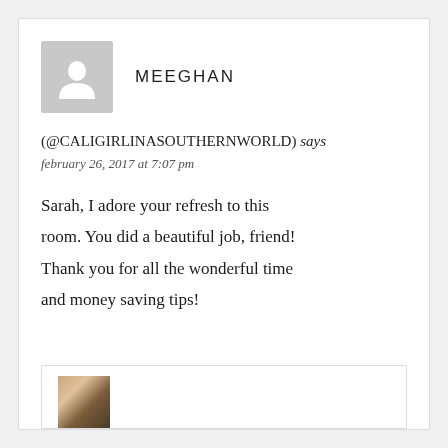[Figure (illustration): Generic user avatar placeholder — gray square with white silhouette of a person]
MEEGHAN
(@CALIGIRLINASOUTHERNWORLD) says
february 26, 2017 at 7:07 pm
Sarah, I adore your refresh to this room. You did a beautiful job, friend! Thank you for all the wonderful time and money saving tips!
[Figure (photo): Partial thumbnail of a photo at the bottom of the page, showing warm brown tones, partially cropped]